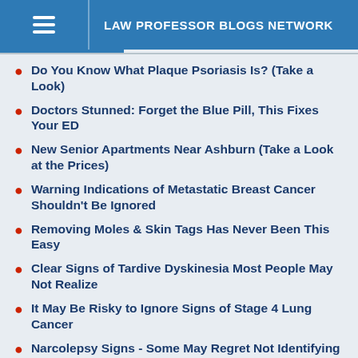LAW PROFESSOR BLOGS NETWORK
Do You Know What Plaque Psoriasis Is? (Take a Look)
Doctors Stunned: Forget the Blue Pill, This Fixes Your ED
New Senior Apartments Near Ashburn (Take a Look at the Prices)
Warning Indications of Metastatic Breast Cancer Shouldn't Be Ignored
Removing Moles & Skin Tags Has Never Been This Easy
Clear Signs of Tardive Dyskinesia Most People May Not Realize
It May Be Risky to Ignore Signs of Stage 4 Lung Cancer
Narcolepsy Signs - Some May Regret Not Identifying Sooner
Everyone Who Believes in God Should Watch This
Red Flag Signs of Multiple Sclerosis (MS) Many May Not Be Aware of